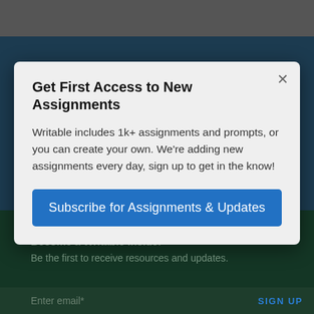Ready for Writable?
Get First Access to New Assignments
Writable includes 1k+ assignments and prompts, or you can create your own. We're adding new assignments every day, sign up to get in the know!
Subscribe for Assignments & Updates
Become a Writable Insider
Be the first to receive resources and updates.
Enter email*
SIGN UP